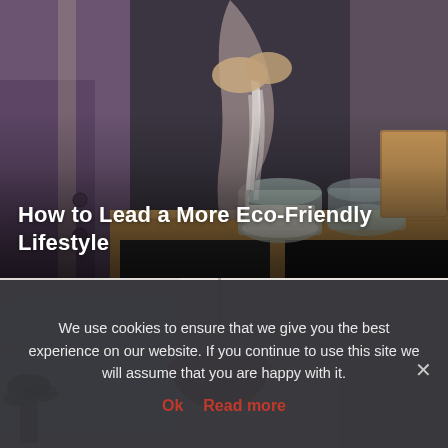[Figure (photo): Person in purple apron pouring flour/grain from a cloth bag into a glass jar on a wooden kitchen counter, with another glass jar visible beside it]
How to Lead a More Eco-Friendly Lifestyle
[Figure (photo): Minimalist kitchen interior with a pink dome pendant lamp hanging from the ceiling, white walls, and a window with light coming through]
We use cookies to ensure that we give you the best experience on our website. If you continue to use this site we will assume that you are happy with it.
Ok  Read more